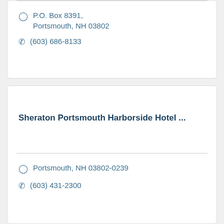P.O. Box 8391, Portsmouth, NH 03802
(603) 686-8133
Sheraton Portsmouth Harborside Hotel ...
Portsmouth, NH 03802-0239
(603) 431-2300